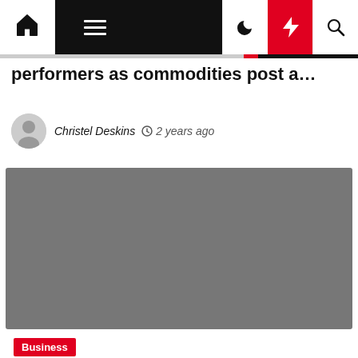Navigation bar with home, menu, moon, lightning, and search icons
performers as commodities post a…
Christel Deskins  2 years ago
[Figure (photo): Gray placeholder image for article thumbnail]
Business